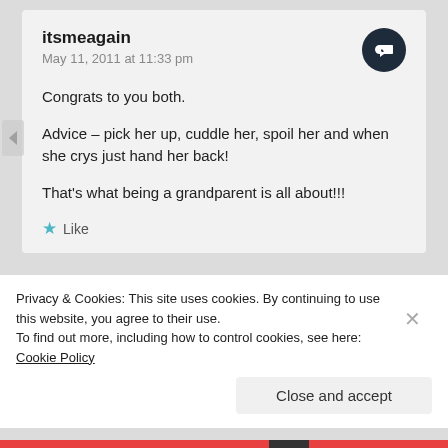itsmeagain
May 11, 2011 at 11:33 pm
Congrats to you both.

Advice – pick her up, cuddle her, spoil her and when she crys just hand her back!

That's what being a grandparent is all about!!!
Like
Piglet in Portugal
Privacy & Cookies: This site uses cookies. By continuing to use this website, you agree to their use.
To find out more, including how to control cookies, see here: Cookie Policy
Close and accept